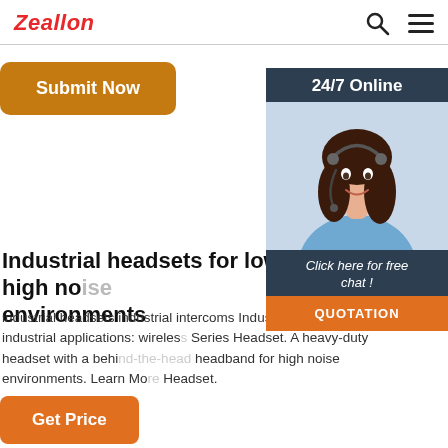Zeallon
[Figure (screenshot): Submit Now orange button]
[Figure (illustration): 24/7 Online customer service panel with photo of smiling woman with headset, 'Click here for free chat!' text, and QUOTATION button]
Industrial headsets for low, medium, high noise environments
industrial headsets industrial intercoms Industrial Accessories other industrial applications: wireless Series Headset. A heavy-duty headset with a behind-the-head headband for high noise environments. Learn More Headset.
[Figure (other): Get Price orange button]